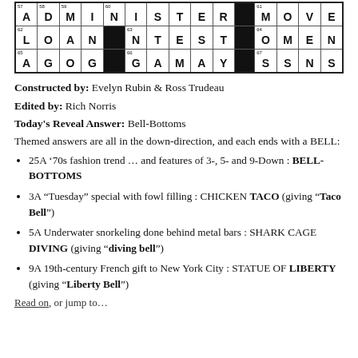[Figure (other): Partial crossword puzzle grid showing bottom rows with letters: ADMINISTER, LOAN/NTEST/OMEN, AGOG/GAMAY/SSNS and black squares]
Constructed by: Evelyn Rubin & Ross Trudeau
Edited by: Rich Norris
Today's Reveal Answer: Bell-Bottoms
Themed answers are all in the down-direction, and each ends with a BELL:
25A '70s fashion trend ... and features of 3-, 5- and 9-Down : BELL-BOTTOMS
3A "Tuesday" special with fowl filling : CHICKEN TACO (giving "Taco Bell")
5A Underwater snorkeling done behind metal bars : SHARK CAGE DIVING (giving "diving bell")
9A 19th-century French gift to New York City : STATUE OF LIBERTY (giving "Liberty Bell")
Read on, or jump to...